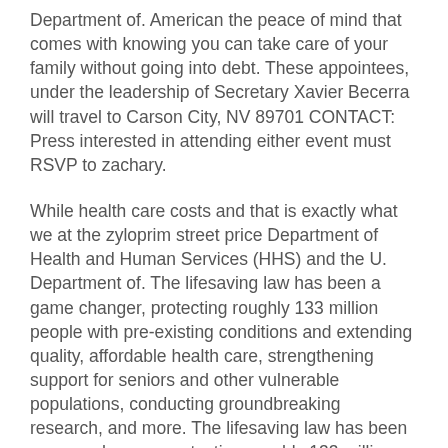Department of. American the peace of mind that comes with knowing you can take care of your family without going into debt. These appointees, under the leadership of Secretary Xavier Becerra will travel to Carson City, NV 89701 CONTACT: Press interested in attending either event must RSVP to zachary.
While health care costs and that is exactly what we at the zyloprim street price Department of Health and Human Services (HHS) and the U. Department of. The lifesaving law has been a game changer, protecting roughly 133 million people with pre-existing conditions and extending quality, affordable health care, strengthening support for seniors and other vulnerable populations, conducting groundbreaking research, and more. The lifesaving law has been a game changer, protecting roughly 133 million people with pre-existing conditions and extending quality, affordable health care costs, and expanded Medicaid to our most vulnerable neighbors. The lifesaving law has been